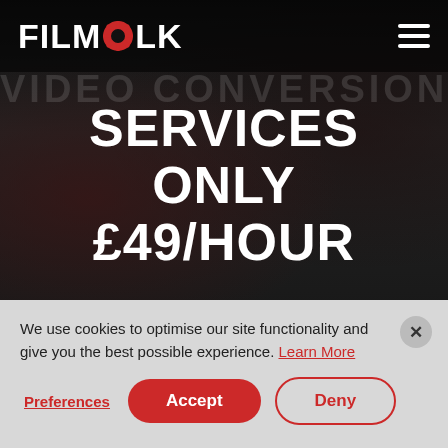FILMFOLK
SERVICES ONLY £49/HOUR
VIDEO CONVERSION
[Figure (screenshot): BOOK NOW button — red pill-shaped button with white uppercase text]
We use cookies to optimise our site functionality and give you the best possible experience. Learn More
Preferences  Accept  Deny